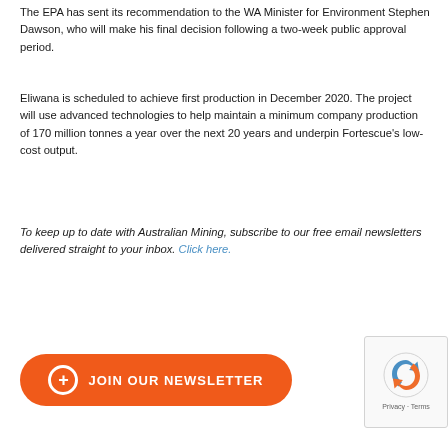The EPA has sent its recommendation to the WA Minister for Environment Stephen Dawson, who will make his final decision following a two-week public approval period.
Eliwana is scheduled to achieve first production in December 2020. The project will use advanced technologies to help maintain a minimum company production of 170 million tonnes a year over the next 20 years and underpin Fortescue's low-cost output.
To keep up to date with Australian Mining, subscribe to our free email newsletters delivered straight to your inbox. Click here.
[Figure (other): Orange rounded button with plus icon and text 'JOIN OUR NEWSLETTER']
[Figure (other): reCAPTCHA widget showing Privacy and Terms]